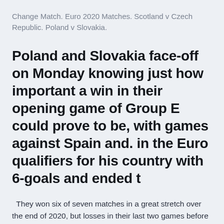Change Match. Euro 2020 Matches. Scotland v Czech Republic. Poland v Slovakia.
Poland and Slovakia face-off on Monday knowing just how important a win in their opening game of Group E could prove to be, with games against Spain and. in the Euro qualifiers for his country with 6-goals and ended t
They won six of seven matches in a great stretch over the end of 2020, but losses in their last two games before Euro 2020, including a 4-0 loss to